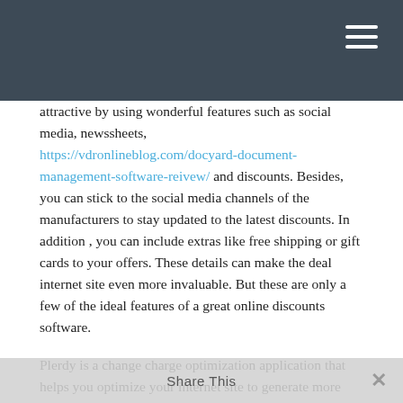attractive by using wonderful features such as social media, newssheets, https://vdronlineblog.com/docyard-document-management-software-reivew/ and discounts. Besides, you can stick to the social media channels of the manufacturers to stay updated to the latest discounts. In addition , you can include extras like free shipping or gift cards to your offers. These details can make the deal internet site even more invaluable. But these are only a few of the ideal features of a great online discounts software.
Plerdy is a change charge optimization application that helps you optimize your internet site to generate more sales. With features just like heatmap and session re-run, Plerdy can easily track the behavior and increase your website's net promoter score. You may
Share This